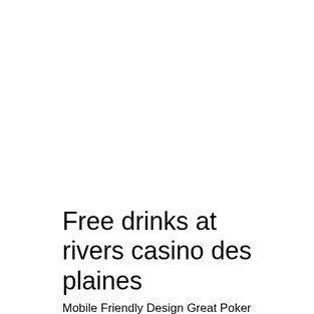Free drinks at rivers casino des plaines
Mobile Friendly Design Great Poker Tournaments Has Live Casino Games Knowledgeable Support Instant Withdrawal